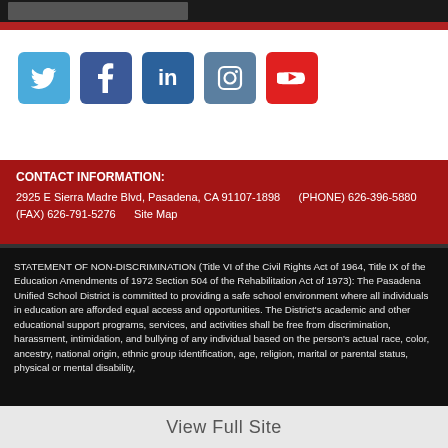[Figure (photo): Dark image bar at top of page showing partial photo strip]
[Figure (infographic): Social media icons row: Twitter (blue), Facebook (dark blue), LinkedIn (blue), Instagram (grey-blue), YouTube (red)]
CONTACT INFORMATION:
2925 E Sierra Madre Blvd, Pasadena, CA 91107-1898     (PHONE) 626-396-5880     (FAX) 626-791-5276     Site Map
STATEMENT OF NON-DISCRIMINATION (Title VI of the Civil Rights Act of 1964, Title IX of the Education Amendments of 1972 Section 504 of the Rehabilitation Act of 1973): The Pasadena Unified School District is committed to providing a safe school environment where all individuals in education are afforded equal access and opportunities. The District's academic and other educational support programs, services, and activities shall be free from discrimination, harassment, intimidation, and bullying of any individual based on the person's actual race, color, ancestry, national origin, ethnic group identification, age, religion, marital or parental status, physical or mental disability,
View Full Site